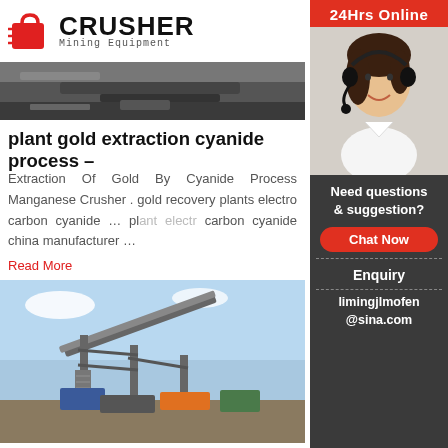[Figure (logo): Crusher Mining Equipment logo with red shopping bag icon and bold CRUSHER text]
[Figure (photo): Close-up photo of mining/crusher equipment machinery]
plant gold extraction cyanide process –
Extraction Of Gold By Cyanide Process Manganese Crusher . gold recovery plants electro carbon cyanide ... plant electro carbon cyanide china manufacturer ...
Read More
[Figure (photo): Large industrial mining conveyor/screening plant structure outdoors]
supplier of rip equipment in china
Australian Gold Reagents is a manufacturer and sodium cyanide for the mining Grinding Mill Chi... recovery plants electro carbon cyanide china .
Read More
[Figure (photo): Sidebar: 24Hrs Online customer service representative with headset]
Need questions & suggestion?
Chat Now
Enquiry
limingjlmofen@sina.com